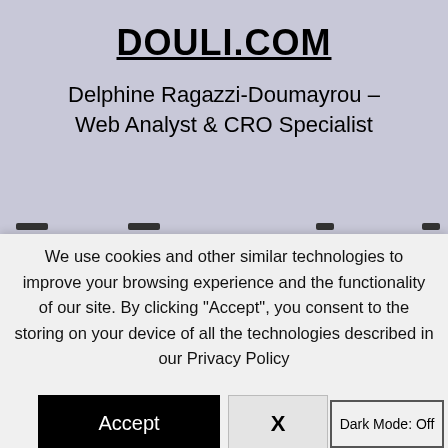DOULI.COM
Delphine Ragazzi-Doumayrou – Web Analyst & CRO Specialist
We use cookies and other similar technologies to improve your browsing experience and the functionality of our site. By clicking "Accept", you consent to the storing on your device of all the technologies described in our Privacy Policy
Accept
X
Dark Mode: Off